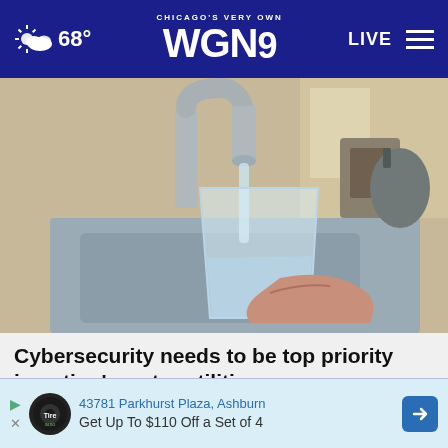68° CHICAGO'S VERY OWN WGN9 LIVE
[Figure (photo): A hand holding a clear glass being filled with water from a chrome kitchen faucet over a sink]
Cybersecurity needs to be top priority in nation's water utilities
43781 Parkhurst Plaza, Ashburn  Get Up To $110 Off a Set of 4